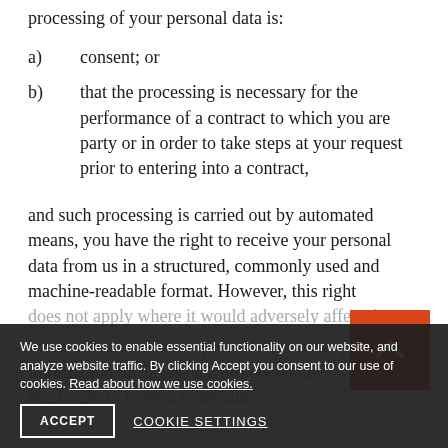processing of your personal data is:
a)  consent; or
b)  that the processing is necessary for the performance of a contract to which you are party or in order to take steps at your request prior to entering into a contract,
and such processing is carried out by automated means, you have the right to receive your personal data from us in a structured, commonly used and machine-readable format. However, this right does not apply where it would adversely affect the
If you consider that our processing of your personal information infringes data protection laws, you have a legal right to lodge a complaint